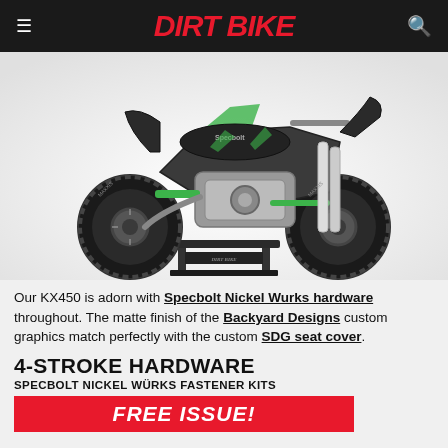DIRT BIKE
[Figure (photo): A Kawasaki KX450 dirt bike with black and green Specbolt Nickel Wurks hardware and Backyard Designs custom graphics, displayed on a Dirt Bike branded stand against a white background.]
Our KX450 is adorn with Specbolt Nickel Wurks hardware throughout. The matte finish of the Backyard Designs custom graphics match perfectly with the custom SDG seat cover.
4-STROKE HARDWARE
SPECBOLT NICKEL WÜRKS FASTENER KITS
[Figure (other): Red banner with white bold italic text reading FREE ISSUE!]